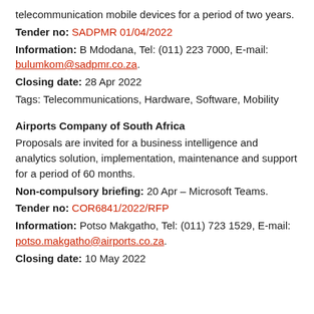telecommunication mobile devices for a period of two years.
Tender no: SADPMR 01/04/2022
Information: B Mdodana, Tel: (011) 223 7000, E-mail: bulumkom@sadpmr.co.za.
Closing date: 28 Apr 2022
Tags: Telecommunications, Hardware, Software, Mobility
Airports Company of South Africa
Proposals are invited for a business intelligence and analytics solution, implementation, maintenance and support for a period of 60 months.
Non-compulsory briefing: 20 Apr – Microsoft Teams.
Tender no: COR6841/2022/RFP
Information: Potso Makgatho, Tel: (011) 723 1529, E-mail: potso.makgatho@airports.co.za.
Closing date: 10 May 2022